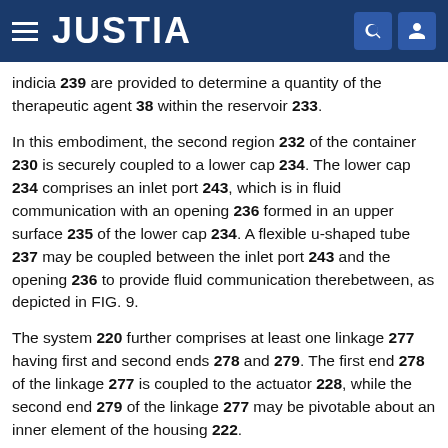JUSTIA
indicia 239 are provided to determine a quantity of the therapeutic agent 38 within the reservoir 233.
In this embodiment, the second region 232 of the container 230 is securely coupled to a lower cap 234. The lower cap 234 comprises an inlet port 243, which is in fluid communication with an opening 236 formed in an upper surface 235 of the lower cap 234. A flexible u-shaped tube 237 may be coupled between the inlet port 243 and the opening 236 to provide fluid communication therebetween, as depicted in FIG. 9.
The system 220 further comprises at least one linkage 277 having first and second ends 278 and 279. The first end 278 of the linkage 277 is coupled to the actuator 228, while the second end 279 of the linkage 277 may be pivotable about an inner element of the housing 222.